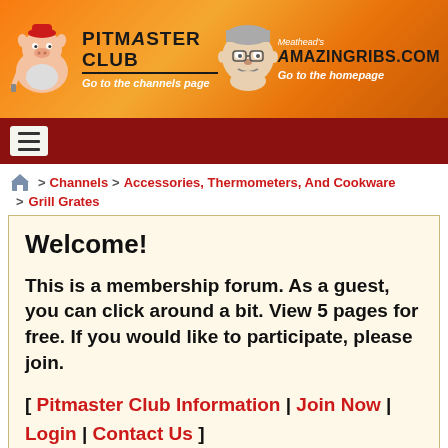[Figure (logo): Pitmaster Club banner with pig mascot on orange flame background and AmazingRibs.com logo with Meathead's face]
≡ (hamburger menu icon)
🏠 > Channels > Accessories, Thermometers, And Cookware > Grill Grates
Welcome!
This is a membership forum. As a guest, you can click around a bit. View 5 pages for free. If you would like to participate, please join.
[ Pitmaster Club Information | Join Now | Login | Contact Us ]
There are 4 page views remaining.